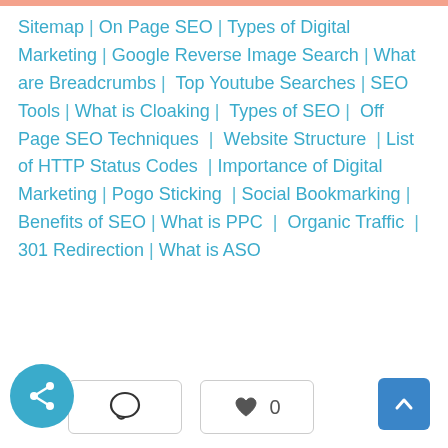Sitemap | On Page SEO | Types of Digital Marketing | Google Reverse Image Search | What are Breadcrumbs | Top Youtube Searches | SEO Tools | What is Cloaking | Types of SEO | Off Page SEO Techniques | Website Structure | List of HTTP Status Codes | Importance of Digital Marketing | Pogo Sticking | Social Bookmarking | Benefits of SEO | What is PPC | Organic Traffic | 301 Redirection | What is ASO
[Figure (other): Share button (blue circle with share icon), comment button (speech bubble icon), like button with heart and count 0, and back-to-top button (blue square with up arrow)]